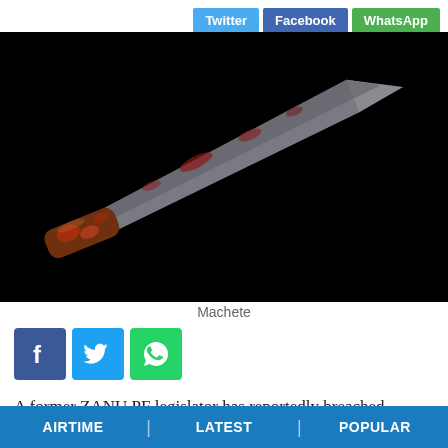[Figure (other): Social share buttons at top right: Twitter (blue), Facebook (dark blue), WhatsApp (green)]
[Figure (photo): A machete with a reddish-brown wooden handle and a grey metallic blade with red stains, on a black background]
Machete
[Figure (other): Social media share icon buttons: Facebook (blue), Twitter (light blue), WhatsApp (green)]
A former ZANU PF legislator has reportedly breached
AIRTIME | LATEST | POPULAR